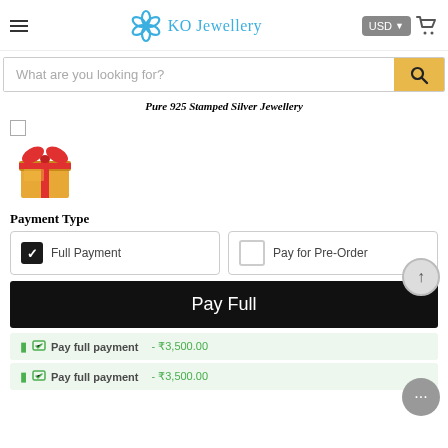KO Jewellery — USD — hamburger menu — cart icon
What are you looking for?
Pure 925 Stamped Silver Jewellery
[Figure (illustration): Gift box emoji with red ribbon]
Payment Type
Full Payment
Pay for Pre-Order
Pay Full
Pay full payment - ₹3,500.00
Pay full payment - ₹3,500.00